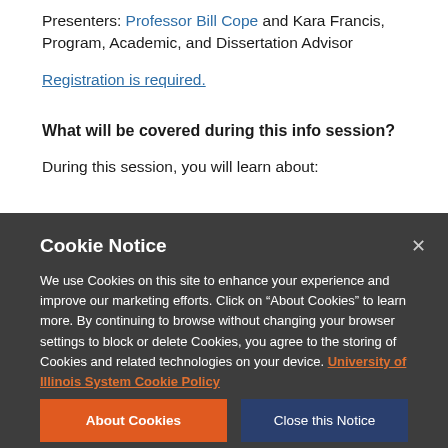Presenters: Professor Bill Cope and Kara Francis, Program, Academic, and Dissertation Advisor
Registration is required.
What will be covered during this info session?
During this session, you will learn about:
Cookie Notice
We use Cookies on this site to enhance your experience and improve our marketing efforts. Click on “About Cookies” to learn more. By continuing to browse without changing your browser settings to block or delete Cookies, you agree to the storing of Cookies and related technologies on your device. University of Illinois System Cookie Policy